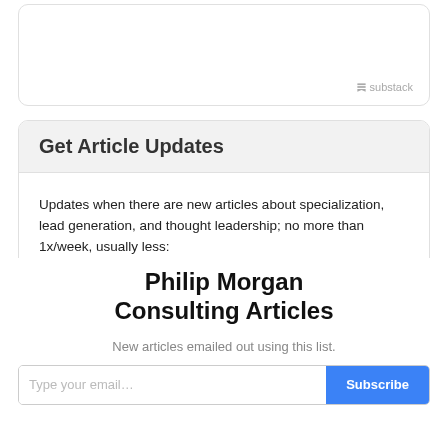[Figure (screenshot): Top card with Substack branding logo and label in gray at bottom right]
Get Article Updates
Updates when there are new articles about specialization, lead generation, and thought leadership; no more than 1x/week, usually less:
Philip Morgan Consulting Articles
New articles emailed out using this list.
[Figure (screenshot): Email input field with Submit button in blue, partially visible at bottom]